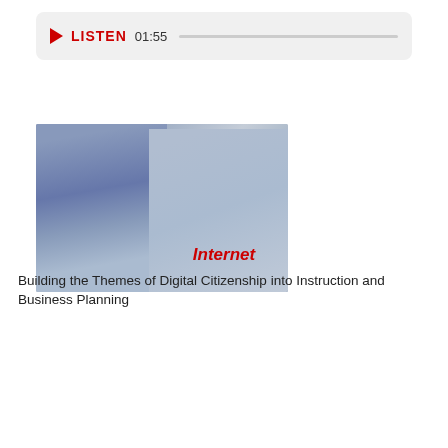[Figure (screenshot): Audio player bar with red play triangle, LISTEN label, timestamp 01:55, and progress bar]
[Figure (photo): Two teenagers, a boy with headphones and a girl with long dark hair, pointing at something off screen]
Internet
Building the Themes of Digital Citizenship into Instruction and Business Planning
[Figure (photo): Young woman in yellow jacket holding books and looking at her phone, smiling]